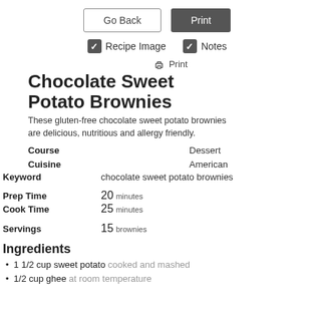Go Back  Print
✓ Recipe Image  ✓ Notes
🖨 Print
Chocolate Sweet Potato Brownies
These gluten-free chocolate sweet potato brownies are delicious, nutritious and allergy friendly.
Course  Dessert
Cuisine  American
Keyword  chocolate sweet potato brownies
Prep Time  20 minutes
Cook Time  25 minutes
Servings  15 brownies
Ingredients
1 1/2 cup sweet potato cooked and mashed
1/2 cup ghee at room temperature